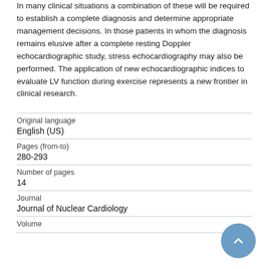In many clinical situations a combination of these will be required to establish a complete diagnosis and determine appropriate management decisions. In those patients in whom the diagnosis remains elusive after a complete resting Doppler echocardiographic study, stress echocardiography may also be performed. The application of new echocardiographic indices to evaluate LV function during exercise represents a new frontier in clinical research.
| Original language | English (US) |
| Pages (from-to) | 280-293 |
| Number of pages | 14 |
| Journal | Journal of Nuclear Cardiology |
| Volume |  |